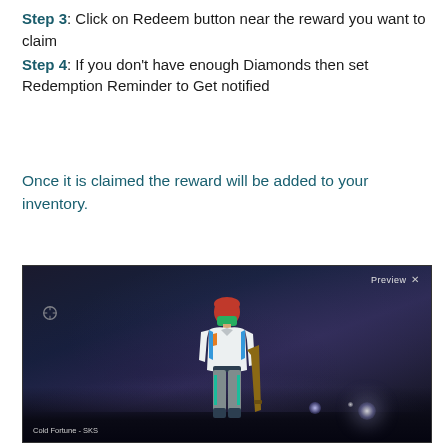Step 3: Click on Redeem button near the reward you want to claim
Step 4: If you don't have enough Diamonds then set Redemption Reminder to Get notified
Once it is claimed the reward will be added to your inventory.
[Figure (screenshot): In-game screenshot showing a female character with red hair and green mask wearing a white and blue outfit, standing on a dark night scene with light reflections. Shows 'Preview X' button top right and 'Cold Fortune - SKS' label bottom left.]